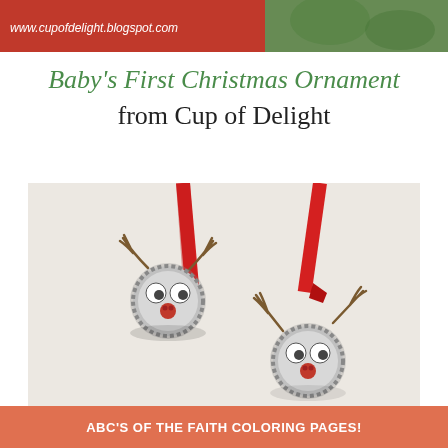[Figure (photo): Top banner split: left half red background with white italic text 'www.cupofdelight.blogspot.com', right half showing green/garden photo]
Baby's First Christmas Ornament from Cup of Delight
[Figure (photo): Photo of two handmade reindeer ornaments made from bottle caps with googly eyes, red button noses, and twig antlers, hanging from red ribbon]
ABC'S OF THE FAITH COLORING PAGES!